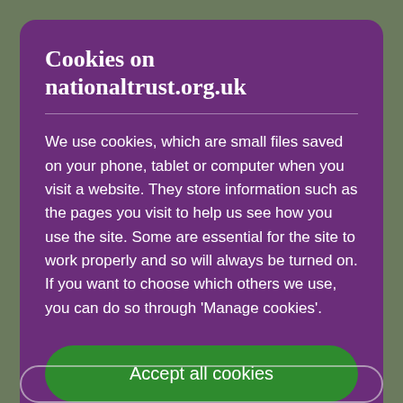Cookies on nationaltrust.org.uk
We use cookies, which are small files saved on your phone, tablet or computer when you visit a website. They store information such as the pages you visit to help us see how you use the site. Some are essential for the site to work properly and so will always be turned on. If you want to choose which others we use, you can do so through 'Manage cookies'.
Accept all cookies